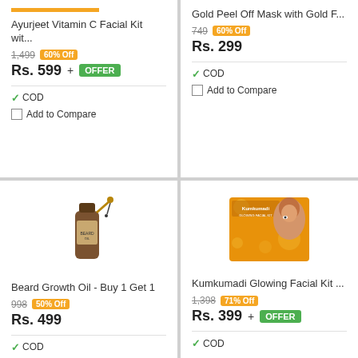Ayurjeet Vitamin C Facial Kit wit...
1,499  60% Off
Rs. 599 + OFFER
✓COD
Add to Compare
Gold Peel Off Mask with Gold F...
749  60% Off
Rs. 299
✓COD
Add to Compare
[Figure (photo): Beard oil bottle with dropper]
Beard Growth Oil - Buy 1 Get 1
998  50% Off
Rs. 499
✓COD
[Figure (photo): Kumkumadi Glowing Facial Kit box with woman's face]
Kumkumadi Glowing Facial Kit ...
1,398  71% Off
Rs. 399 + OFFER
✓COD